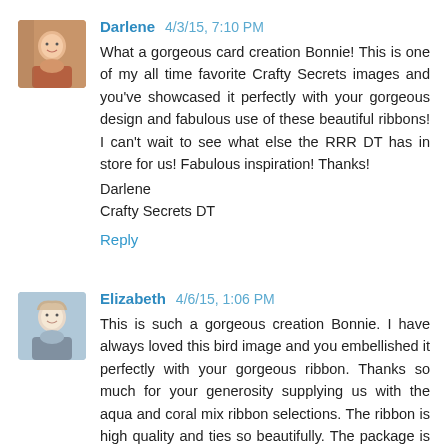Darlene  4/3/15, 7:10 PM
What a gorgeous card creation Bonnie! This is one of my all time favorite Crafty Secrets images and you've showcased it perfectly with your gorgeous design and fabulous use of these beautiful ribbons! I can't wait to see what else the RRR DT has in store for us! Fabulous inspiration! Thanks!
Darlene
Crafty Secrets DT
Reply
Elizabeth  4/6/15, 1:06 PM
This is such a gorgeous creation Bonnie. I have always loved this bird image and you embellished it perfectly with your gorgeous ribbon. Thanks so much for your generosity supplying us with the aqua and coral mix ribbon selections. The ribbon is high quality and ties so beautifully. The package is so perfectly coordinated, as I said in my blog it would take days of shopping to match all these ribbons